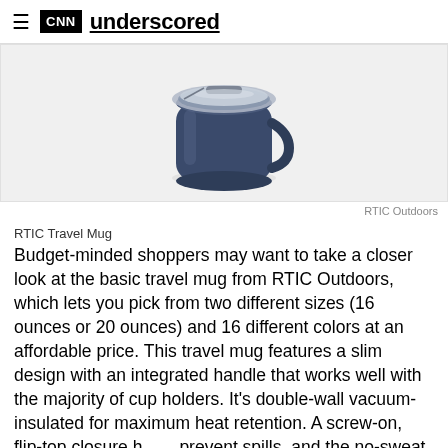CNN underscored
[Figure (photo): RTIC Travel Mug — a dark navy blue insulated travel mug with a clear flip-top lid, photographed on a white background.]
RTIC Outdoors
RTIC Travel Mug
Budget-minded shoppers may want to take a closer look at the basic travel mug from RTIC Outdoors, which lets you pick from two different sizes (16 ounces or 20 ounces) and 16 different colors at an affordable price. This travel mug features a slim design with an integrated handle that works well with the majority of cup holders. It's double-wall vacuum-insulated for maximum heat retention. A screw-on, flip-top closure helps prevent spills, and the no-sweat exterior ensures the outside of your mug is always dry.